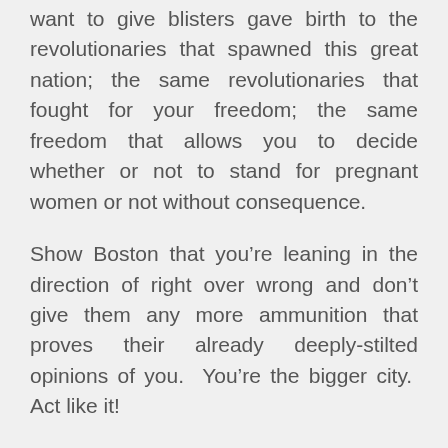want to give blisters gave birth to the revolutionaries that spawned this great nation; the same revolutionaries that fought for your freedom; the same freedom that allows you to decide whether or not to stand for pregnant women or not without consequence.
Show Boston that you're leaning in the direction of right over wrong and don't give them any more ammunition that proves their already deeply-stilted opinions of you.  You're the bigger city.  Act like it!
I've met Yankees fans who don't appreciate Boston fans and never will.  And vice versa.  That's why they're around, so that we, the